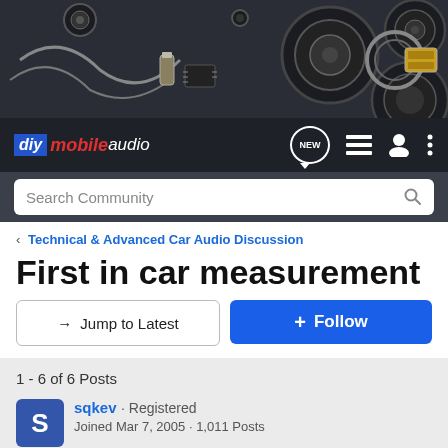[Figure (photo): Header photo collage of car audio equipment — speakers, woofers, cables, amplifier parts on a dark background]
diy mobile audio — navigation bar with NEW messages, list view, user profile, and menu icons
Search Community
< Technical & Advanced Car Audio Discussion
First in car measurement
→ Jump to Latest
+ Follow
1 - 6 of 6 Posts
sqkev · Registered
Joined Mar 7, 2005 · 1,011 Posts